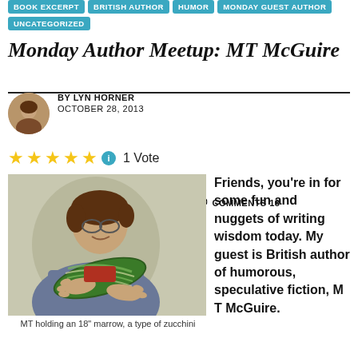BOOK EXCERPT | BRITISH AUTHOR | HUMOR | MONDAY GUEST AUTHOR | UNCATEGORIZED
Monday Author Meetup: MT McGuire
BY LYN HORNER   OCTOBER 28, 2013   COMMENTS 18
1 Vote
[Figure (photo): Woman holding a large striped marrow/zucchini]
MT holding an 18" marrow, a type of zucchini
Friends, you're in for some fun and nuggets of writing wisdom today. My guest is British author of humorous, speculative fiction, M T McGuire.